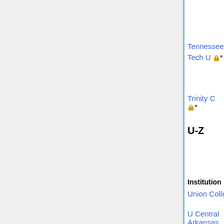cosmogra... daytona
Tennessee Tech U 🔒* Jan 18 (M)
Trinity C 🔒* Dec 1
U-Z
| Institution | Areas | Apply by | Short lists and offers |
| --- | --- | --- | --- |
| Union College |  | Dec 15 | filled |
| U Central Arkansas |  |  |  |
| U Central Arkansas |  |  |  |
| U Central Oklahoma 🔒* |  | Jan 18 | (M) |
| U Illinois, Springfield |  |  |  |
| U North Alabama |  |  | (M)!(P) |
| U Texas, El Paso |  |  |  |